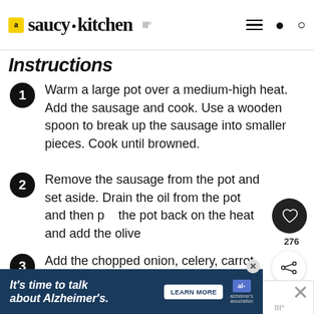saucy kitchen
Instructions
Warm a large pot over a medium-high heat. Add the sausage and cook. Use a wooden spoon to break up the sausage into smaller pieces. Cook until browned.
Remove the sausage from the pot and set aside. Drain the oil from the pot and then put the pot back on the heat and add the olive
Add the chopped onion, celery, carrot, garlic, bay lead and thyme and cook about 7 minutes to soften the veggies. Make sure to stir everything around to prevent the garlic and
[Figure (screenshot): Website UI overlay showing a heart/save button (276 saves), a share icon, and a 'What's Next' promo thumbnail for Tomato Coconut Curry]
[Figure (screenshot): Advertisement banner: 'It's time to talk about Alzheimer's.' with Learn More button and Alzheimer's Association logo]